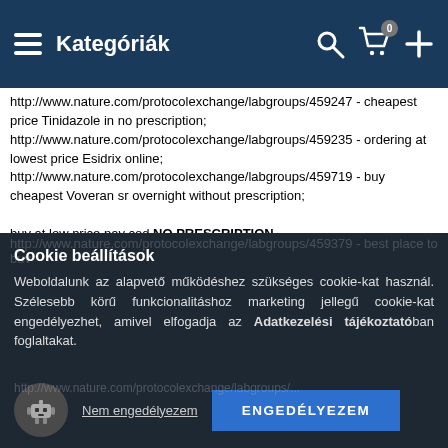Kategóriák
http://www.nature.com/protocolexchange/labgroups/459247 - cheapest price Tinidazole in no prescription;
http://www.nature.com/protocolexchange/labgroups/459235 - ordering at lowest price Esidrix online;
http://www.nature.com/protocolexchange/labgroups/459719 - buy cheapest Voveran sr overnight without prescription;

buy at low price pay cod NO PRESCRIPTION
http://www.nature.com/protocolexchange/labgroups/459387 - discount Clonidine no prescription quick delivery;
http://www.nature.com/protocolexchange/labgroups/458821 - how much Nolvadex without dr prescription;
http://www.nature.com/protocolexchange/labgroups/458959 - where can i buy Myambutol without prescription;
http://www.nature.com/protocolexchange/labgroups/459541 - buy cheapest Imuran no script next day delivery;
http://www.nature.com/protocolexchange/labgroups/458884 - ...
Cookie beállítások
Weboldalunk az alapvető működéshez szükséges cookie-kat használ. Szélesebb körű funkcionalitáshoz marketing jellegű cookie-kat engedélyezhet, amivel elfogadja az Adatkezelési tájékoztatóban foglaltakat.
Nem engedélyezem   ENGEDÉLYEZEM